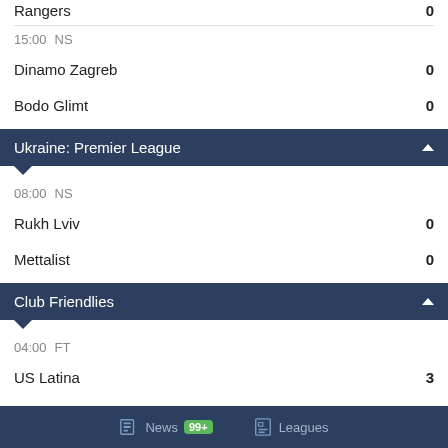Rangers  0
15:00  NS
Dinamo Zagreb  0
Bodo Glimt  0
Ukraine: Premier League
08:00  NS
Rukh Lviv  0
Mettalist  0
Club Friendlies
04:00  FT
US Latina  3
Triestina  1
09:00  NS
News  99+  Leagues